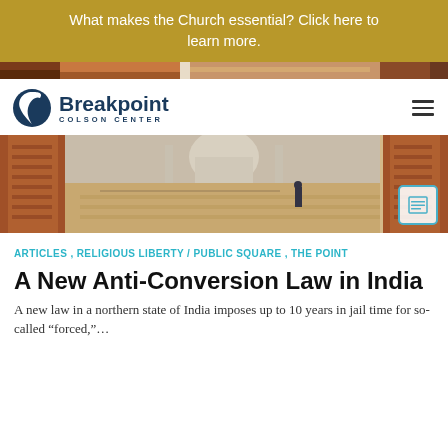What makes the Church essential? Click here to learn more.
[Figure (screenshot): Cropped top portion of an image showing warm-toned architectural scene]
[Figure (logo): Breakpoint Colson Center logo with dark blue circular icon and text]
[Figure (photo): Hero image of the Taj Mahal viewed through ornate red sandstone arches, with a person standing in the courtyard]
ARTICLES , RELIGIOUS LIBERTY / PUBLIC SQUARE , THE POINT
A New Anti-Conversion Law in India
A new law in a northern state of India imposes up to 10 years in jail time for so-called “forced,”…